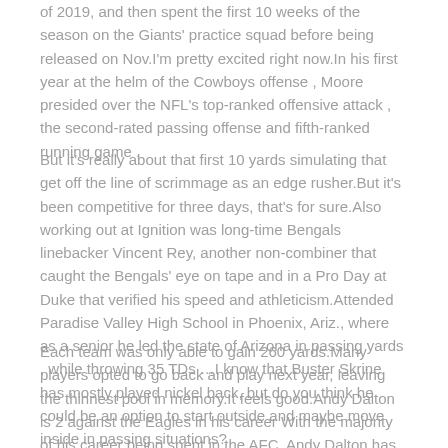of 2019, and then spent the first 10 weeks of the season on the Giants' practice squad before being released on Nov.I'm pretty excited right now.In his first year at the helm of the Cowboys offense , Moore presided over the NFL's top-ranked offensive attack , the second-rated passing offense and fifth-ranked running game .
But it's really about that first 10 yards simulating that get off the line of scrimmage as an edge rusher.But it's been competitive for three days, that's for sure.Also working out at Ignition was long-time Bengals linebacker Vincent Rey, another non-combiner that caught the Bengals' eye on tape and in a Pro Day at Duke that verified his speed and athleticism.Attended Paradise Valley High School in Phoenix, Ariz., where as a senior he led the state of Arizona in passing yards , while throwing 35 TDs …I know that Buster Skrine has mostly played nickel back, but do you think he could be an option to start outside and maybe move inside in passing situations?
Each team was only able to gain 260 yards.Many players opted to go back and play next year, leaving the thinnest pool in memory.It feels good.Andy Dalton is 2 against the Eagles in his career With the majority of his career being spent in the AFC, Andy Dalton has met the Eagles just twice in his career, both resulting in wins.They took the opening kickoff and marched 75 yards in 10 plays, as Prescott